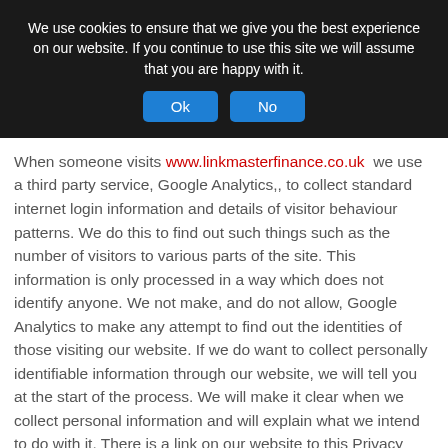We use cookies to ensure that we give you the best experience on our website. If you continue to use this site we will assume that you are happy with it.
[Figure (other): Two blue buttons labeled 'Ok' and 'No' inside a cookie consent banner]
When someone visits www.linkmasterfinance.co.uk we use a third party service, Google Analytics,, to collect standard internet login information and details of visitor behaviour patterns. We do this to find out such things such as the number of visitors to various parts of the site. This information is only processed in a way which does not identify anyone. We not make, and do not allow, Google Analytics to make any attempt to find out the identities of those visiting our website. If we do want to collect personally identifiable information through our website, we will tell you at the start of the process. We will make it clear when we collect personal information and will explain what we intend to do with it. There is a link on our website to this Privacy Notice.